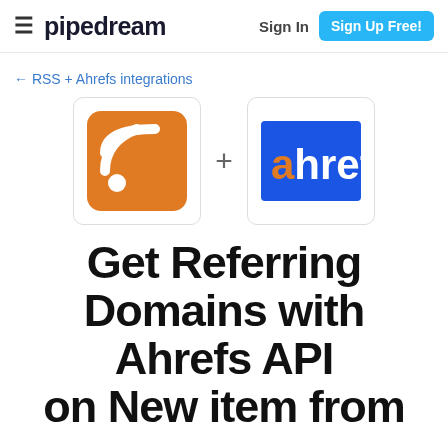≡ pipedream   Sign In   Sign Up Free!
← RSS + Ahrefs integrations
[Figure (logo): RSS feed icon (orange rounded square with white RSS signal) and Ahrefs logo (blue square with orange 'a' and white 'hrefs' text), separated by a plus sign]
Get Referring Domains with Ahrefs API on New item from